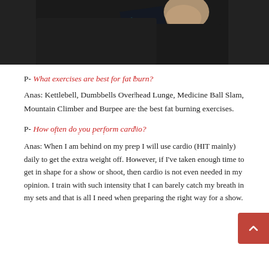[Figure (photo): Photo of a person in dark clothing, appears to be a fitness/bodybuilding related image, cropped to show upper body area with dark background]
P- What exercises are best for fat burn?
Anas: Kettlebell, Dumbbells Overhead Lunge, Medicine Ball Slam, Mountain Climber and Burpee are the best fat burning exercises.
P- How often do you perform cardio?
Anas: When I am behind on my prep I will use cardio (HIT mainly) daily to get the extra weight off. However, if I've taken enough time to get in shape for a show or shoot, then cardio is not even needed in my opinion. I train with such intensity that I can barely catch my breath in my sets and that is all I need when preparing the right way for a show.